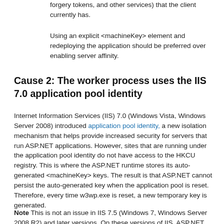forgery tokens, and other services) that the client currently has.
Using an explicit <machineKey> element and redeploying the application should be preferred over enabling server affinity.
Cause 2: The worker process uses the IIS 7.0 application pool identity
Internet Information Services (IIS) 7.0 (Windows Vista, Windows Server 2008) introduced application pool identity, a new isolation mechanism that helps provide increased security for servers that run ASP.NET applications. However, sites that are running under the application pool identity do not have access to the HKCU registry. This is where the ASP.NET runtime stores its auto-generated <machineKey> keys. The result is that ASP.NET cannot persist the auto-generated key when the application pool is reset. Therefore, every time w3wp.exe is reset, a new temporary key is generated.
Note This is not an issue in IIS 7.5 (Windows 7, Windows Server 2008 R2) and later versions. On these versions of IIS, ASP.NET